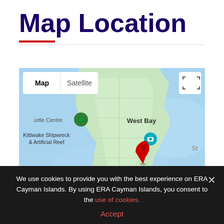Map Location
[Figure (map): Google Maps screenshot showing West Bay peninsula in the Cayman Islands with a red location pin, Seven Mile Beach label, Kittiwake Shipwreck & Artificial Reef label, and Turtle Centre label. Map/Satellite toggle and fullscreen controls visible.]
We use cookies to provide you with the best experience on ERA Cayman Islands. By using ERA Cayman Islands, you consent to the use of cookies.
Accept